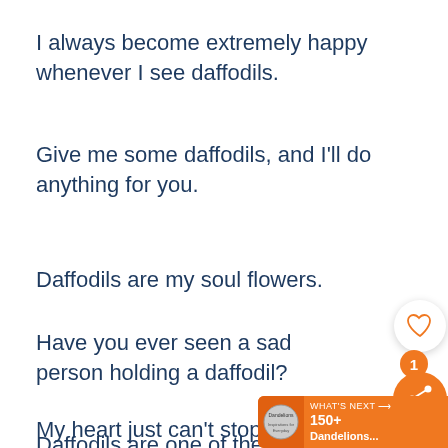I always become extremely happy whenever I see daffodils.
Give me some daffodils, and I'll do anything for you.
Daffodils are my soul flowers.
Have you ever seen a sad person holding a daffodil?
My heart just can't stop dancing whenever I see a daffodil.
Daffodils are one of the greatest
[Figure (infographic): UI overlay with heart/like button, orange share button with count badge of 1, and 'WHAT'S NEXT' banner showing '150+ Dandelions...']